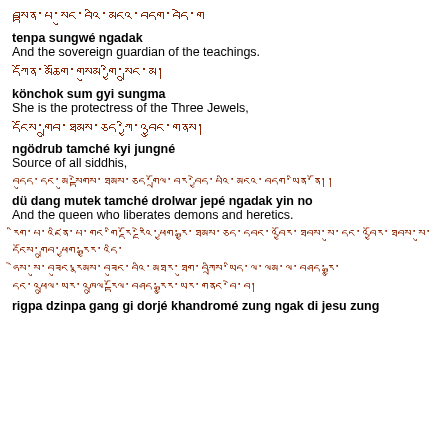ཏེན་པ་སུང་བའི་མངའ་དག [Tibetan script]
tenpa sungwé ngadak
And the sovereign guardian of the teachings.
དཀོན་མཆོག་གསུམ་གྱི་སྲུང་མ། [Tibetan script]
könchok sum gyi sungma
She is the protectress of the Three Jewels,
དངོས་གྲུབ་ཐམས་ཅད་ཀྱི་འབྱུང་གནས། [Tibetan script]
ngödrub tamché kyi jungné
Source of all siddhis,
བདུད་དང་མུ་སྟེགས་ཐམས་ཅད་གྲོལ་བར་བྱེད་པའི་མངའ་དབང་ཡིན་ནོ། [Tibetan script]
dü dang mutek tamché drolwar jepé ngadak yin no
And the queen who liberates demons and heretics.
[Tibetan script block - three lines]
rigpa dzinpa gang gi dorjé khandromé zung ngak di jesu zung